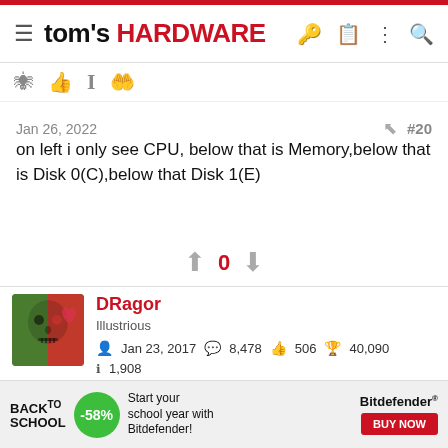tom's HARDWARE
[Figure (screenshot): Toolbar with reaction icons: eye, thumbs up, I-cursor, hand]
Jan 26, 2022  #20
on left i only see CPU, below that is Memory,below that is Disk 0(C),below that Disk 1(E)
[Figure (other): Vote widget showing up arrow, 0, down arrow]
[Figure (photo): Avatar image: half green skull, half red heart face]
DRagor
Illustrious
Jan 23, 2017  8,478  506  40,090
1,908
[Figure (screenshot): Two rows of achievement/badge icons]
[Figure (other): Advertisement banner: Back to School -58% Bitdefender BUY NOW]